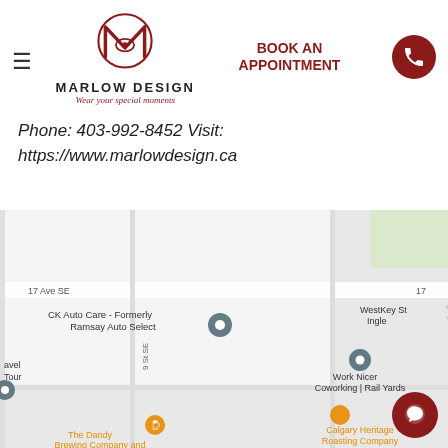[Figure (logo): Marlow Design logo with stylized M and eye motif, text MARLOW DESIGN and tagline Wear your special moments]
BOOK AN APPOINTMENT
Phone: 403-992-8452 Visit: https://www.marlowdesign.ca
[Figure (map): Google Maps screenshot showing area near 17 Ave SE and 12 Street, with markers for CK Auto Care - Formerly Ramsay Auto Select, Work Nicer Coworking | Rail Yards, Orpyx Medical Technologies Inc, The Dandy Brewing Company and, Calgary Heritage Roasting Company, WestKey St Ingle, avel Tour, 9 St SE label]